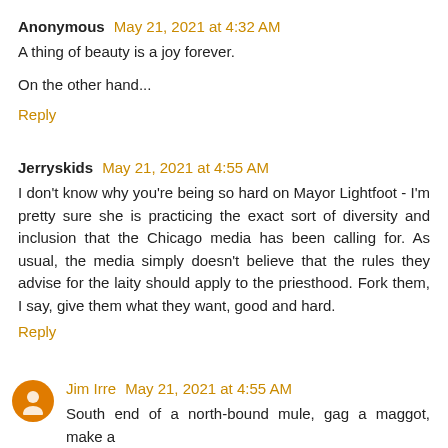Anonymous May 21, 2021 at 4:32 AM
A thing of beauty is a joy forever.

On the other hand...
Reply
Jerryskids May 21, 2021 at 4:55 AM
I don't know why you're being so hard on Mayor Lightfoot - I'm pretty sure she is practicing the exact sort of diversity and inclusion that the Chicago media has been calling for. As usual, the media simply doesn't believe that the rules they advise for the laity should apply to the priesthood. Fork them, I say, give them what they want, good and hard.
Reply
Jim Irre May 21, 2021 at 4:55 AM
South end of a north-bound mule, gag a maggot, make a